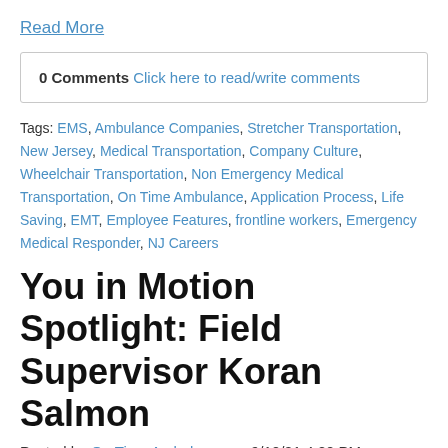Read More
0 Comments Click here to read/write comments
Tags: EMS, Ambulance Companies, Stretcher Transportation, New Jersey, Medical Transportation, Company Culture, Wheelchair Transportation, Non Emergency Medical Transportation, On Time Ambulance, Application Process, Life Saving, EMT, Employee Features, frontline workers, Emergency Medical Responder, NJ Careers
You in Motion Spotlight: Field Supervisor Koran Salmon
Posted by On Time Ambulance on 9/10/21 4:20 PM